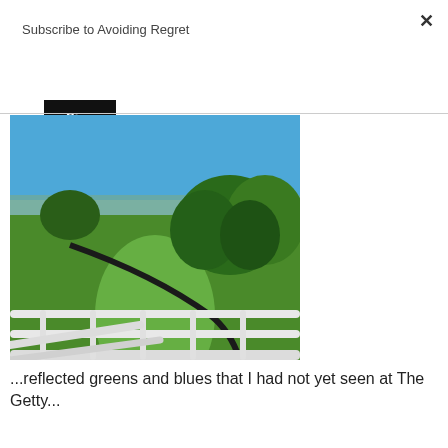Subscribe to Avoiding Regret
Sign me up!
×
[Figure (photo): Outdoor photo taken from a balcony with white railings, showing a green lawn curving away with trees on the right, and a hazy blue sky with distant hills and cityscape in the background. Taken at The Getty.]
...reflected greens and blues that I had not yet seen at The Getty...